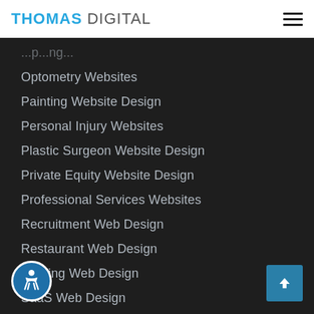THOMAS DIGITAL
Optometry Websites
Painting Website Design
Personal Injury Websites
Plastic Surgeon Website Design
Private Equity Website Design
Professional Services Websites
Recruitment Web Design
Restaurant Web Design
Roofing Web Design
SaaS Web Design
Small Business Website Design
Tech Company Websites
Technology Web Design
Therapy Websites
eb Design